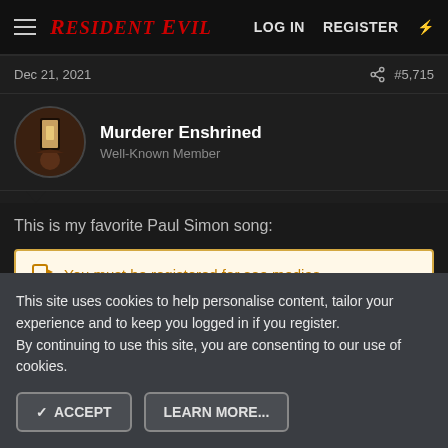RESIDENT EVIL  LOG IN  REGISTER
Dec 21, 2021  #5,715
Murderer Enshrined
Well-Known Member
This is my favorite Paul Simon song:
You must be registered for see medias
KevinStriker
This site uses cookies to help personalise content, tailor your experience and to keep you logged in if you register.
By continuing to use this site, you are consenting to our use of cookies.
ACCEPT  LEARN MORE...